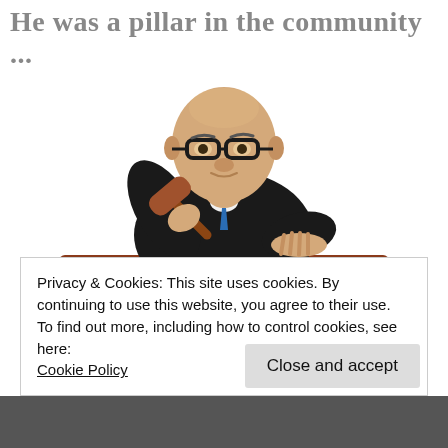He was a pillar in the community ...
[Figure (illustration): 3D cartoon illustration of a judge in black robes holding a gavel above a wooden bench, wearing glasses, with a blue tie visible]
Privacy & Cookies: This site uses cookies. By continuing to use this website, you agree to their use.
To find out more, including how to control cookies, see here:
Cookie Policy
Close and accept